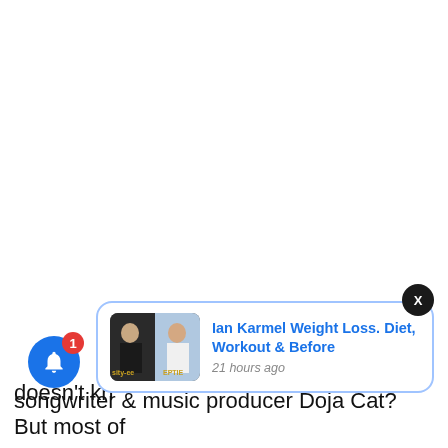[Figure (screenshot): Blue notification bell icon with red badge showing number 1]
[Figure (screenshot): Popup notification card with thumbnail image of Ian Karmel, titled 'Ian Karmel Weight Loss. Diet, Workout & Before', timestamped '21 hours ago'. Has a close X button in dark circle.]
doesn't kn
songwriter & music producer Doja Cat? But most of